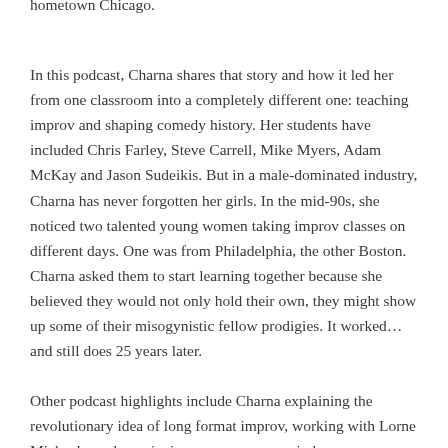hometown Chicago.
In this podcast, Charna shares that story and how it led her from one classroom into a completely different one: teaching improv and shaping comedy history. Her students have included Chris Farley, Steve Carrell, Mike Myers, Adam McKay and Jason Sudeikis. But in a male-dominated industry, Charna has never forgotten her girls. In the mid-90s, she noticed two talented young women taking improv classes on different days. One was from Philadelphia, the other Boston. Charna asked them to start learning together because she believed they would not only hold their own, they might show up some of their misogynistic fellow prodigies. It worked…and still does 25 years later.
Other podcast highlights include Charna explaining the revolutionary idea of long format improv, working with Lorne Michaels, and convincing a young woman in her